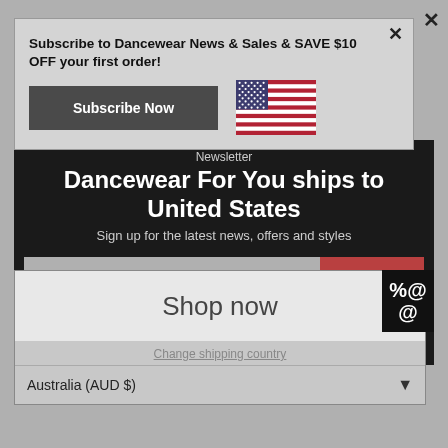Subscribe to Dancewear News & Sales & SAVE $10 OFF your first order!
[Figure (illustration): Dark gray Subscribe Now button and US flag]
Newsletter
Dancewear For You ships to United States
Sign up for the latest news, offers and styles
Your email / Shop in USD $
Subscribe
Get shipping options for United States
Copyright © 2022, Dancewear For You. Powered by Shopify
Shop now
Change shipping country
Australia (AUD $)